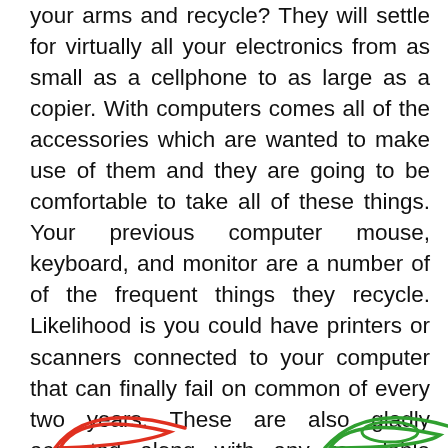your arms and recycle? They will settle for virtually all your electronics from as small as a cellphone to as large as a copier. With computers comes all of the accessories which are wanted to make use of them and they are going to be comfortable to take all of these things. Your previous computer mouse, keyboard, and monitor are a number of of the frequent things they recycle. Likelihood is you could have printers or scanners connected to your computer that can finally fail on common of every two years. These are also gladly accepted along with any recyclable cartridges throughout the machines. Virtually all your old electronics will be recycled irrespective of the dimensions or how worn they might be.
[Figure (illustration): Partial illustration at the bottom of the page showing colored curved shapes — a red curved shape on the left and a green curved shape on the right, partially cut off.]